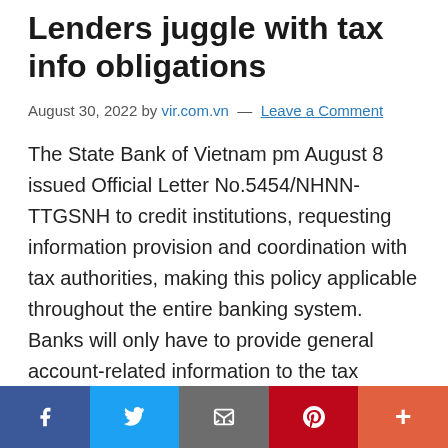Lenders juggle with tax info obligations
August 30, 2022 by vir.com.vn — Leave a Comment
The State Bank of Vietnam pm August 8 issued Official Letter No.5454/NHNN-TTGSNH to credit institutions, requesting information provision and coordination with tax authorities, making this policy applicable throughout the entire banking system. Banks will only have to provide general account-related information to the tax authorities, Le Toan In June last year, the General Department of Taxation (GDT) piloted the initiative with the commercial banks of VietinBank, Vietcombank,